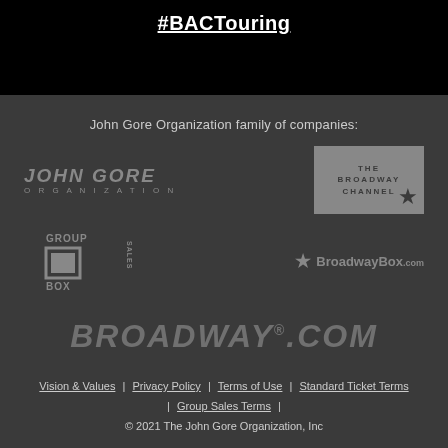#BACTouring
John Gore Organization family of companies:
[Figure (logo): John Gore Organization logo — stylized text in gray]
[Figure (logo): The Broadway Channel logo — gray rectangle with star]
[Figure (logo): Office Group Box Sales logo — gray text and box graphic]
[Figure (logo): BroadwayBox.com logo — gray star and text]
[Figure (logo): Broadway.com logo — large stylized italic text]
Vision & Values | Privacy Policy | Terms of Use | Standard Ticket Terms | Group Sales Terms | © 2021 The John Gore Organization, Inc